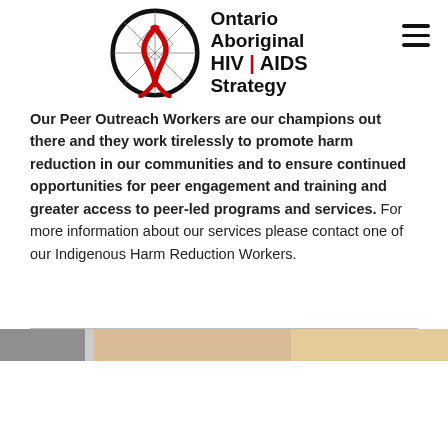Ontario Aboriginal HIV | AIDS Strategy
Our Peer Outreach Workers are our champions out there and they work tirelessly to promote harm reduction in our communities and to ensure continued opportunities for peer engagement and training and greater access to peer-led programs and services. For more information about our services please contact one of our Indigenous Harm Reduction Workers.
[Figure (photo): Partial view of a photograph showing people, positioned at the bottom of the page below a horizontal divider line.]